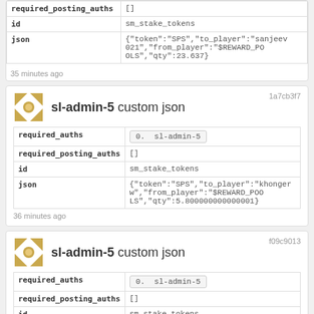| field | value |
| --- | --- |
| required_posting_auths | [] |
| id | sm_stake_tokens |
| json | {"token":"SPS","to_player":"sanjeev021","from_player":"$REWARD_POOLS","qty":23.637} |
35 minutes ago
sl-admin-5 custom json
1a7cb3f7
| field | value |
| --- | --- |
| required_auths | 0. sl-admin-5 |
| required_posting_auths | [] |
| id | sm_stake_tokens |
| json | {"token":"SPS","to_player":"khongerw","from_player":"$REWARD_POOLS","qty":5.800000000000001} |
36 minutes ago
sl-admin-5 custom json
f09c9013
| field | value |
| --- | --- |
| required_auths | 0. sl-admin-5 |
| required_posting_auths | [] |
| id | sm_stake_tokens |